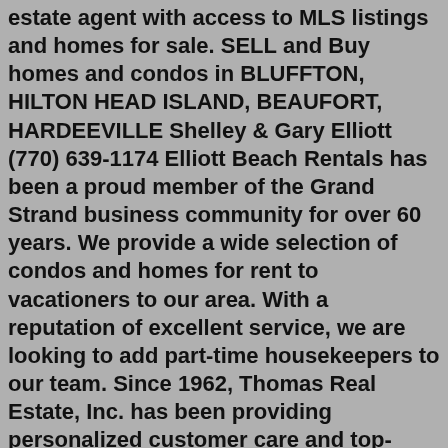estate agent with access to MLS listings and homes for sale. SELL and Buy homes and condos in BLUFFTON, HILTON HEAD ISLAND, BEAUFORT, HARDEEVILLE Shelley & Gary Elliott (770) 639-1174 Elliott Beach Rentals has been a proud member of the Grand Strand business community for over 60 years. We provide a wide selection of condos and homes for rent to vacationers to our area. With a reputation of excellent service, we are looking to add part-time housekeepers to our team. Since 1962, Thomas Real Estate, Inc. has been providing personalized customer care and top-quality services to make thousands of peoples' love of the beach a reality. Vacation Rentals. Real Estate Sales. Annual Rentals. HOA. CHERRY GROVE OFFICE 625 Sea Mountain Highway North Myrtle Beach, SC 29582.Professional real estate agent with access to MLS listings and homes for sale. SELL and Buy homes and condos in BLUFFTON, HILTON HEAD ISLAND, BEAUFORT, HARDEEVILLE Shelley & Gary Elliott (770) 639-1174Real estate jobs include